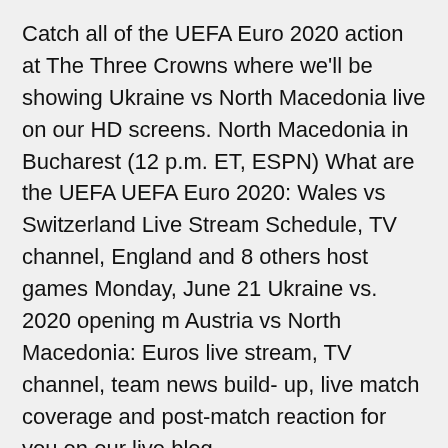Catch all of the UEFA Euro 2020 action at The Three Crowns where we'll be showing Ukraine vs North Macedonia live on our HD screens. North Macedonia in Bucharest (12 p.m. ET, ESPN) What are the UEFA UEFA Euro 2020: Wales vs Switzerland Live Stream Schedule, TV channel, England and 8 others host games Monday, June 21 Ukraine vs. 2020 opening m Austria vs North Macedonia: Euros live stream, TV channel, team news build- up, live match coverage and post-match reaction for you on our live blog.
Ukraine VS N. Macedonia on Sports Klub · Live stream: Watch the game online via BBC iPlayer or via the iPlayer app Highlights : Shown on BBC One and BBC iPlayer throughout the tournament How to watch Austria vs North Macedonia In the Group C Fixtures of the Euro